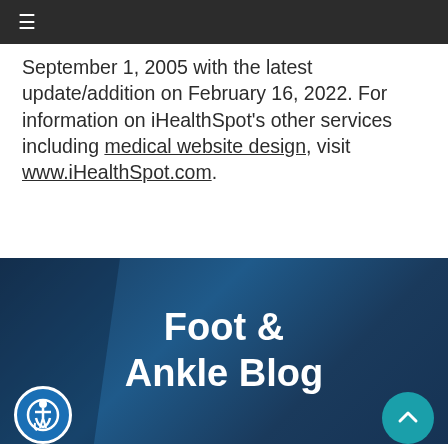Navigation bar with hamburger menu icon
September 1, 2005 with the latest update/addition on February 16, 2022. For information on iHealthSpot's other services including medical website design, visit www.iHealthSpot.com.
Foot & Ankle Blog
[Figure (other): Accessibility icon button - circular blue button with wheelchair user symbol]
[Figure (other): Scroll to top button - circular teal button with upward arrow]